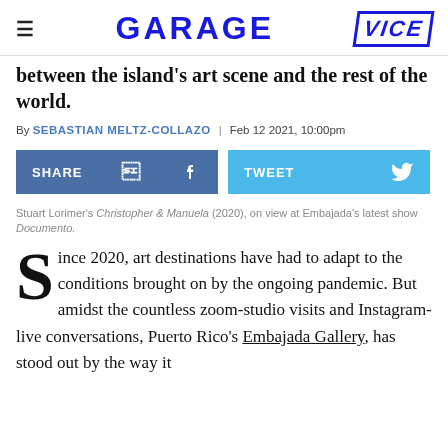GARAGE | VICE
between the island's art scene and the rest of the world.
By SEBASTIAN MELTZ-COLLAZO | Feb 12 2021, 10:00pm
[Figure (other): Share on Facebook and Tweet buttons]
Stuart Lorimer's Christopher & Manuela (2020), on view at Embajada's latest show Documento.
Since 2020, art destinations have had to adapt to the conditions brought on by the ongoing pandemic. But amidst the countless zoom-studio visits and Instagram-live conversations, Puerto Rico's Embajada Gallery, has stood out by the way it